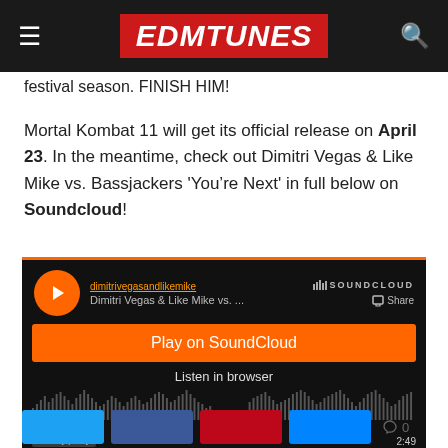EDMTUNES
festival season. FINISH HIM!
Mortal Kombat 11 will get its official release on April 23. In the meantime, check out Dimitri Vegas & Like Mike vs. Bassjackers 'You're Next' in full below on Soundcloud!
[Figure (screenshot): SoundCloud embedded player showing Dimitri Vegas & Like Mike vs. track with orange Play on SoundCloud button, waveform, Listen in browser text, and 2:49 duration]
[Figure (other): Social sharing buttons: Twitter (blue), Facebook (dark blue), Pinterest (red), Messenger (blue), and share count 0]